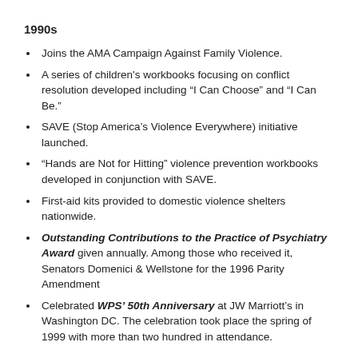1990s
Joins the AMA Campaign Against Family Violence.
A series of children's workbooks focusing on conflict resolution developed including “I Can Choose” and “I Can Be.”
SAVE (Stop America’s Violence Everywhere) initiative launched.
“Hands are Not for Hitting” violence prevention workbooks developed in conjunction with SAVE.
First-aid kits provided to domestic violence shelters nationwide.
Outstanding Contributions to the Practice of Psychiatry Award given annually. Among those who received it, Senators Domenici & Wellstone for the 1996 Parity Amendment
Celebrated WPS’ 50th Anniversary at JW Marriott’s in Washington DC. The celebration took place the spring of 1999 with more than two hundred in attendance.